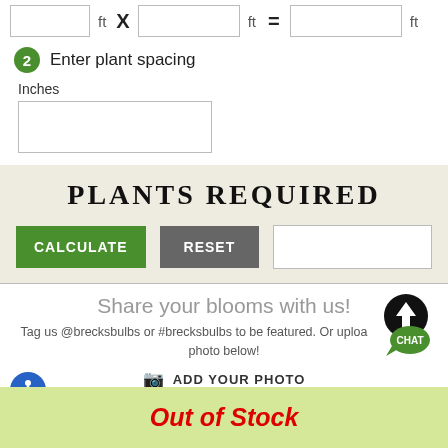ft X ft = ft
2 Enter plant spacing
Inches
PLANTS REQUIRED
CALCULATE   RESET
Share your blooms with us!
Tag us @brecksbulbs or #brecksbulbs to be featured. Or upload a photo below!
ADD YOUR PHOTO
Out of Stock